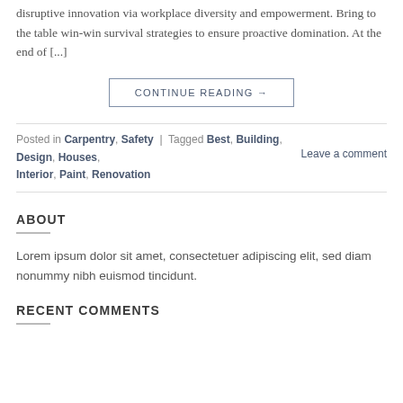disruptive innovation via workplace diversity and empowerment. Bring to the table win-win survival strategies to ensure proactive domination. At the end of [...]
CONTINUE READING →
Posted in Carpentry, Safety | Tagged Best, Building, Design, Houses, Interior, Paint, Renovation    Leave a comment
ABOUT
Lorem ipsum dolor sit amet, consectetuer adipiscing elit, sed diam nonummy nibh euismod tincidunt.
RECENT COMMENTS